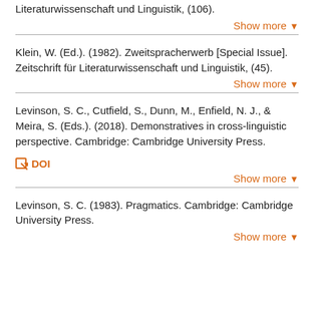Literaturwissenschaft und Linguistik, (106).
Show more
Klein, W. (Ed.). (1982). Zweitspracherwerb [Special Issue]. Zeitschrift für Literaturwissenschaft und Linguistik, (45).
Show more
Levinson, S. C., Cutfield, S., Dunn, M., Enfield, N. J., & Meira, S. (Eds.). (2018). Demonstratives in cross-linguistic perspective. Cambridge: Cambridge University Press.
DOI
Show more
Levinson, S. C. (1983). Pragmatics. Cambridge: Cambridge University Press.
Show more